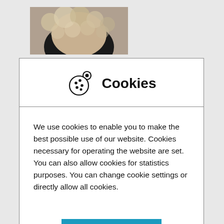[Figure (photo): Partial photo of a person with fur collar visible at top left of page behind the modal]
Cookies
We use cookies to enable you to make the best possible use of our website. Cookies necessary for operating the website are set. You can also allow cookies for statistics purposes. You can change cookie settings or directly allow all cookies.
Allow all
Edit cookies
Technologies, EDAG Engineering GmbH